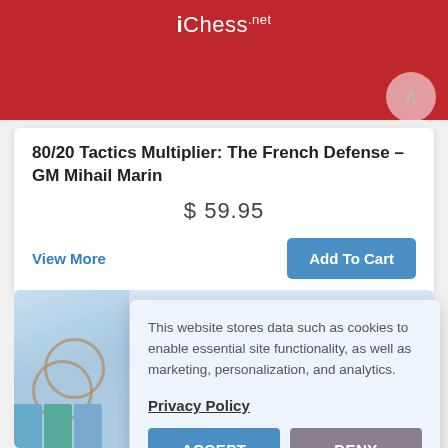[Figure (screenshot): Red banner with iChess.net logo and a circular back/up arrow button]
80/20 Tactics Multiplier: The French Defense – GM Mihail Marin
$ 59.95
View More
Add To Cart
[Figure (photo): Chess product image with circular logo decorations and chess books at the bottom]
This website stores data such as cookies to enable essential site functionality, as well as marketing, personalization, and analytics.
Privacy Policy
ACCEPT
DENY